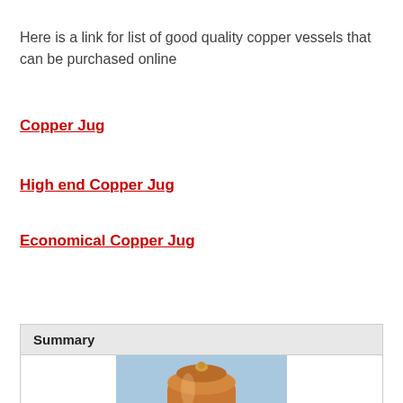Here is a link for list of good quality copper vessels that can be purchased online
Copper Jug
High end Copper Jug
Economical Copper Jug
| Summary |
| --- |
| [image of copper vessel] |